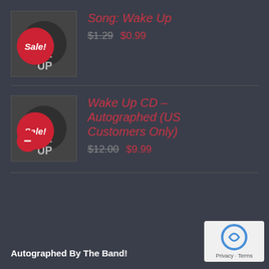[Figure (illustration): Album thumbnail with Sale! badge for Song: Wake Up]
Song: Wake Up
$1.29  $0.99
[Figure (illustration): Album thumbnail with Sale! badge and minus button for Wake Up CD]
Wake Up CD – Autographed (US Customers Only)
$12.00  $9.99
Autographed By The Band!